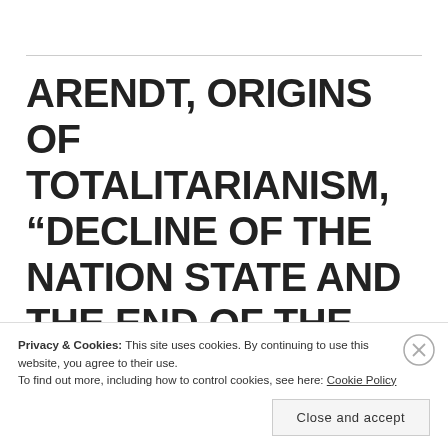ARENDT, ORIGINS OF TOTALITARIANISM, “DECLINE OF THE NATION STATE AND THE END OF THE RIGHTS OF MAN”
Privacy & Cookies: This site uses cookies. By continuing to use this website, you agree to their use.
To find out more, including how to control cookies, see here: Cookie Policy